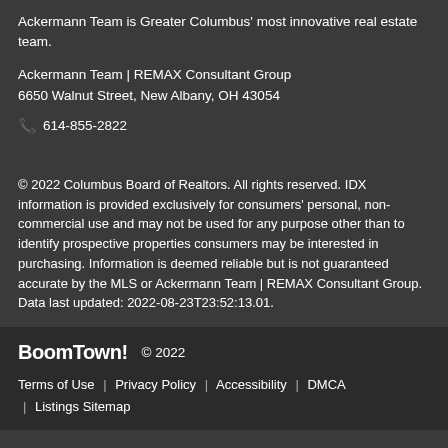Ackermann Team is Greater Columbus' most innovative real estate team.
Ackermann Team | REMAX Consultant Group
6650 Walnut Street, New Albany, OH 43054
📞 614-855-2822
© 2022 Columbus Board of Realtors. All rights reserved. IDX information is provided exclusively for consumers' personal, non-commercial use and may not be used for any purpose other than to identify prospective properties consumers may be interested in purchasing. Information is deemed reliable but is not guaranteed accurate by the MLS or Ackermann Team | REMAX Consultant Group. Data last updated: 2022-08-23T23:52:13.01.
BoomTown! © 2022
Terms of Use | Privacy Policy | Accessibility | DMCA | Listings Sitemap